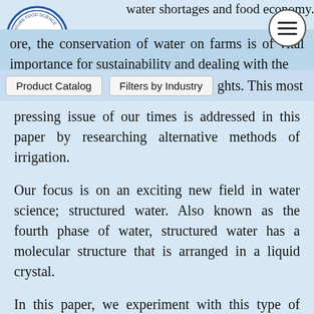water shortages and food economy.
[Figure (logo): NFS circular logo with blue border and text]
[Figure (other): Hamburger menu button circle]
ore, the conservation of water on farms is of vital importance for sustainability and dealing with the
Product Catalog   Filters by Industry   ghts. This most pressing issue of our times is addressed in this paper by researching alternative methods of irrigation.
Our focus is on an exciting new field in water science; structured water. Also known as the fourth phase of water, structured water has a molecular structure that is arranged in a liquid crystal.
In this paper, we experiment with this type of water to see its hydration and yield effects on sprouts. In addition, we put structured water into the larger context of alternative irrigation as a method to address a growing global food crisis due to water shortages.